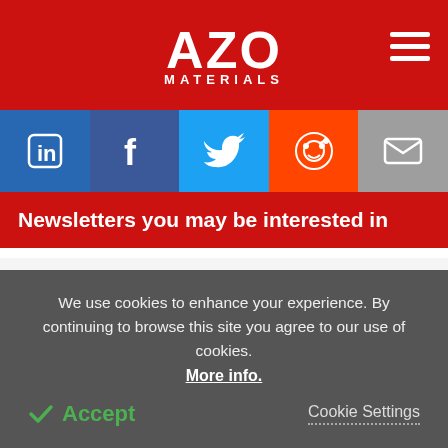AZO MATERIALS
[Figure (logo): AZO Materials logo — white text on red background with hamburger menu icon]
[Figure (infographic): Social media share bar: LinkedIn, Facebook, Twitter, Reddit, Email icons]
Newsletters you may be interested in
Clean Technology (Subscribe or Preview)
Food & Beverage Analysis
We use cookies to enhance your experience. By continuing to browse this site you agree to our use of cookies. More info.
Accept
Cookie Settings